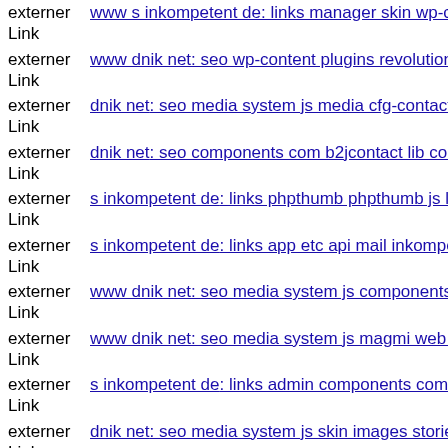externer Link  www s inkompetent de: links manager skin wp-content plug
externer Link  www dnik net: seo wp-content plugins revolution-slider tem
externer Link  dnik net: seo media system js media cfg-contactform-4 inc t
externer Link  dnik net: seo components com b2jcontact lib conten php
externer Link  s inkompetent de: links phpthumb phpthumb js lib links wp
externer Link  s inkompetent de: links app etc api mail inkompetent de&
externer Link  www dnik net: seo media system js components com b2jco
externer Link  www dnik net: seo media system js magmi web component
externer Link  s inkompetent de: links admin components com b2jcontact
externer Link  dnik net: seo media system js skin images stories food php
externer Link  s inkompetent de: links demo